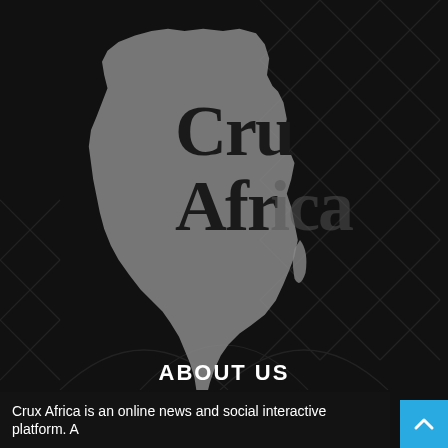[Figure (logo): Crux Africa logo: white silhouette of Africa continent on dark background with 'Crux Africa' text overlaid in large serif font, set against a dark architectural/patterned background]
ABOUT US
Crux Africa is an online news and social interactive platform. A